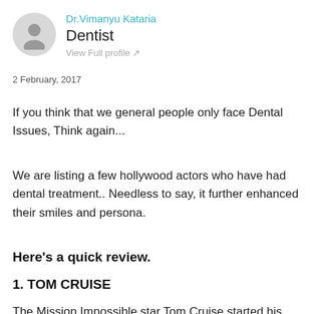Dr.Vimanyu Kataria
Dentist
View Full profile ↗
2 February, 2017
If you think that we general people only face Dental Issues, Think again...
We are listing a few hollywood actors who have had dental treatment.. Needless to say, it further enhanced their smiles and persona.
Here's a quick review.
1. TOM CRUISE
The Mission Impossible star Tom Cruise started his